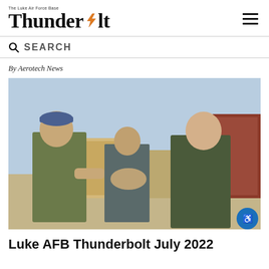The Luke Air Force Base Thunderbolt
SEARCH
By Aerotech News
[Figure (photo): Two military personnel shaking hands outdoors near base buildings. The person on the left wears camouflage uniform and blue beret, the person on the right wears an olive green flight suit. A third person stands in the background.]
Luke AFB Thunderbolt July 2022